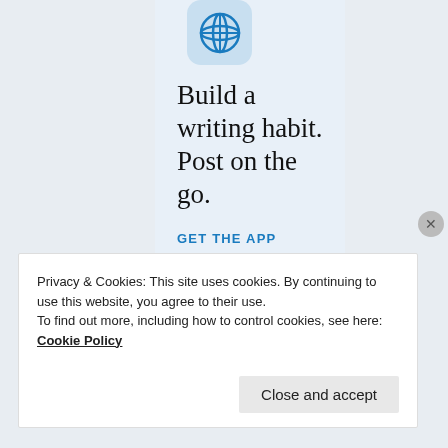[Figure (logo): WordPress logo in a light blue rounded square icon]
Build a writing habit. Post on the go.
GET THE APP
Privacy & Cookies: This site uses cookies. By continuing to use this website, you agree to their use.
To find out more, including how to control cookies, see here: Cookie Policy
Close and accept